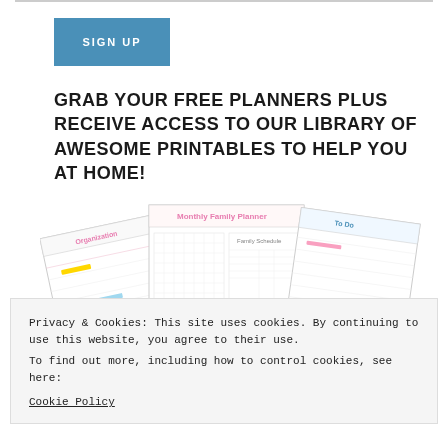SIGN UP
GRAB YOUR FREE PLANNERS PLUS RECEIVE ACCESS TO OUR LIBRARY OF AWESOME PRINTABLES TO HELP YOU AT HOME!
[Figure (illustration): Fan of printable planner pages showing colorful monthly/weekly planners with tables and to-do sections]
Privacy & Cookies: This site uses cookies. By continuing to use this website, you agree to their use.
To find out more, including how to control cookies, see here:
Cookie Policy
Close and accept